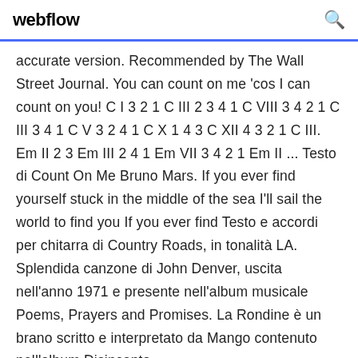webflow
accurate version. Recommended by The Wall Street Journal. You can count on me 'cos I can count on you! C I 3 2 1 C III 2 3 4 1 C VIII 3 4 2 1 C III 3 4 1 C V 3 2 4 1 C X 1 4 3 C XII 4 3 2 1 C III. Em II 2 3 Em III 2 4 1 Em VII 3 4 2 1 Em II ... Testo di Count On Me Bruno Mars. If you ever find yourself stuck in the middle of the sea I'll sail the world to find you If you ever find Testo e accordi per chitarra di Country Roads, in tonalità LA. Splendida canzone di John Denver, uscita nell'anno 1971 e presente nell'album musicale Poems, Prayers and Promises. La Rondine è un brano scritto e interpretato da Mango contenuto nell'album Disincanto